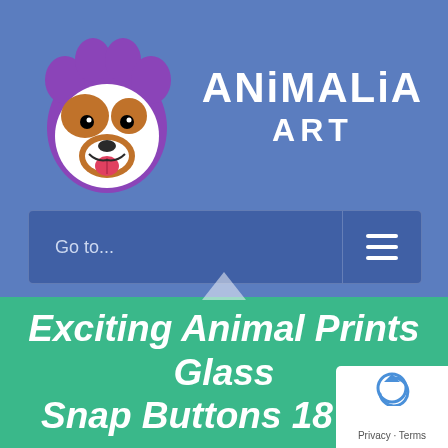[Figure (logo): Animalia Art logo: cartoon dog face on a purple paw print, with text 'ANiMALiA ART' in white on blue background]
Go to...
Exciting Animal Prints glass snap buttons 18 mm
Privacy · Terms